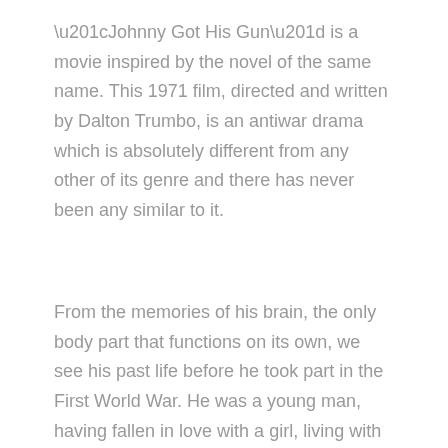“Johnny Got His Gun” is a movie inspired by the novel of the same name. This 1971 film, directed and written by Dalton Trumbo, is an antiwar drama which is absolutely different from any other of its genre and there has never been any similar to it.
From the memories of his brain, the only body part that functions on its own, we see his past life before he took part in the First World War. He was a young man, having fallen in love with a girl, living with his parents and